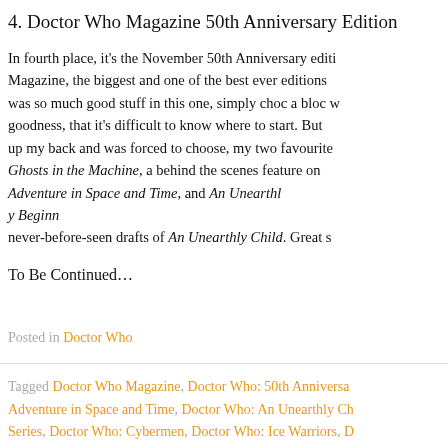4. Doctor Who Magazine 50th Anniversary Edition
In fourth place, it’s the November 50th Anniversary edition of Doctor Who Magazine, the biggest and one of the best ever editions of the magazine. There was so much good stuff in this one, simply choc a bloc with Who related goodness, that it’s difficult to know where to start. But when I put my thinking cap up my back and was forced to choose, my two favourite pieces were Ghosts in the Machine, a behind the scenes feature on the making of An Adventure in Space and Time, and An Unearthly Beginnings which included never-before-seen drafts of An Unearthly Child. Great s
To Be Continued…
Posted in Doctor Who
Tagged Doctor Who Magazine, Doctor Who: 50th Anniversary, Doctor Who: An Adventure in Space and Time, Doctor Who: An Unearthly Ch… Series, Doctor Who: Cybermen, Doctor Who: Ice Warriors, D…